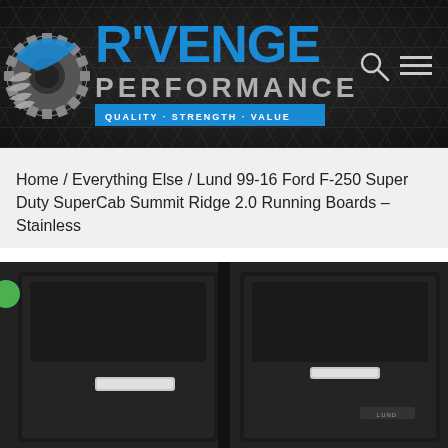[Figure (logo): R'VENGE PERFORMANCE logo with gear/sprocket graphic on dark hexagonal background. Tagline: QUALITY · STRENGTH · VALUE]
Home / Everything Else / Lund 99-16 Ford F-250 Super Duty SuperCab Summit Ridge 2.0 Running Boards – Stainless
[Figure (photo): Photo of black Ford F-250 Super Duty truck doors/cab area showing chrome door handles. Product image for running boards listing.]